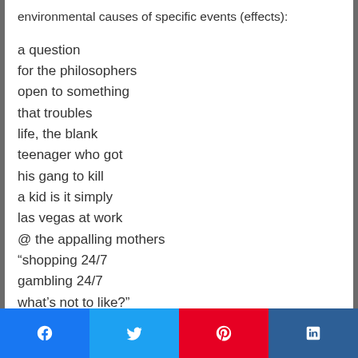environmental causes of specific events (effects):
a question
for the philosophers
open to something
that troubles
life, the blank
teenager who got
his gang to kill
a kid is it simply
las vegas at work
@ the appalling mothers
“shopping 24/7
gambling 24/7
what’s not to like?”
Share buttons: Facebook, Twitter, Pinterest, LinkedIn